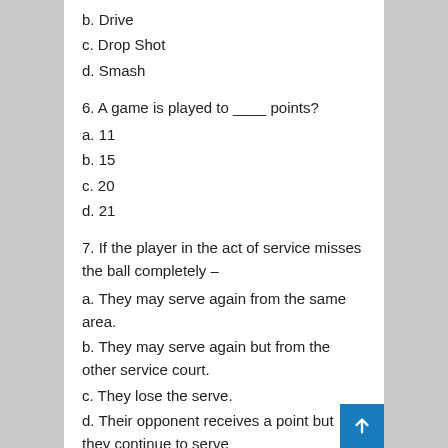b. Drive
c. Drop Shot
d. Smash
6. A game is played to ____ points?
a. 11
b. 15
c. 20
d. 21
7. If the player in the act of service misses the ball completely –
a. They may serve again from the same area.
b. They may serve again but from the other service court.
c. They lose the serve.
d. Their opponent receives a point but they continue to serve